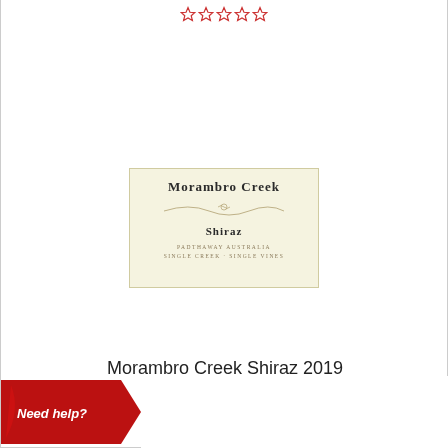[Figure (other): Five empty red star rating icons in a row]
[Figure (illustration): Morambro Creek Shiraz wine bottle label with cream background, showing brand name 'Morambro Creek', a decorative wave line, varietal 'Shiraz', and small text 'Padthaway Australia / Single Creek Single Vines']
Morambro Creek Shiraz 2019
E GROUND SHIPPING
able for selected quantities)
Need help?